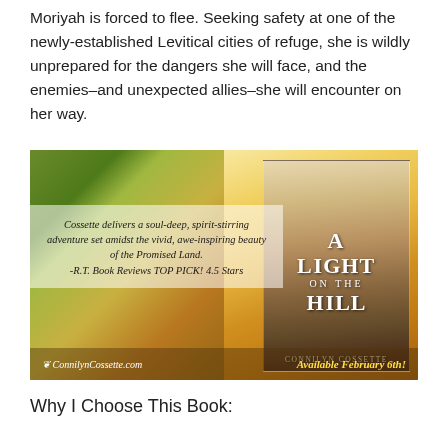Moriyah is forced to flee. Seeking safety at one of the newly-established Levitical cities of refuge, she is wildly unprepared for the dangers she will face, and the enemies–and unexpected allies–she will encounter on her way.
[Figure (illustration): Promotional banner for the book 'A Light on the Hill' by Connilyn Cossette. Left side shows autumn leaves background with a translucent white quote overlay reading: 'Cossette delivers a soul-deep, spirit-stirring adventure set amidst the vivid, awe-inspiring beauty of the Promised Land. -R.T. Book Reviews TOP PICK! 4.5 Stars'. Right side shows the book cover with a woman in a blue robe and the title text. Bottom bar shows 'ConnilynCossette.com' and 'Available February 6th!']
Why I Choose This Book: